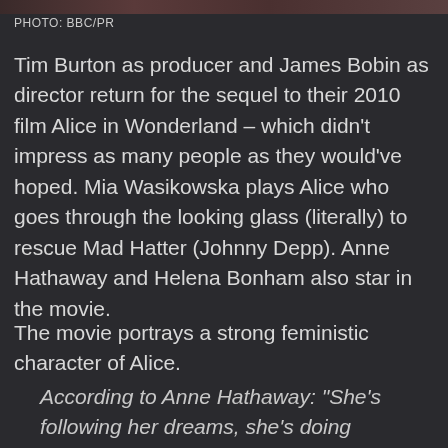PHOTO: BBC/PR
Tim Burton as producer and James Bobin as director return for the sequel to their 2010 film Alice in Wonderland – which didn't impress as many people as they would've hoped. Mia Wasikowska plays Alice who goes through the looking glass (literally) to rescue Mad Hatter (Johnny Depp). Anne Hathaway and Helena Bonham also star in the movie.
The movie portrays a strong feministic character of Alice.
According to Anne Hathaway: “She’s following her dreams, she’s doing